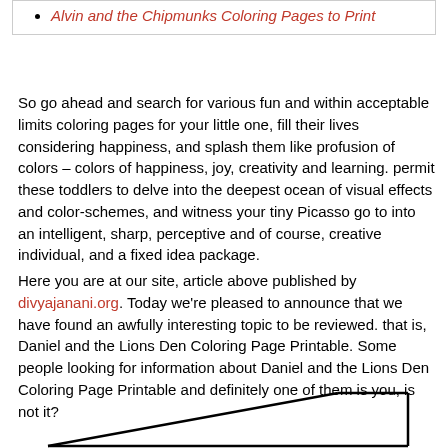Alvin and the Chipmunks Coloring Pages to Print
So go ahead and search for various fun and within acceptable limits coloring pages for your little one, fill their lives considering happiness, and splash them like profusion of colors – colors of happiness, joy, creativity and learning. permit these toddlers to delve into the deepest ocean of visual effects and color-schemes, and witness your tiny Picasso go to into an intelligent, sharp, perceptive and of course, creative individual, and a fixed idea package.
Here you are at our site, article above published by divyajanani.org. Today we're pleased to announce that we have found an awfully interesting topic to be reviewed. that is, Daniel and the Lions Den Coloring Page Printable. Some people looking for information about Daniel and the Lions Den Coloring Page Printable and definitely one of them is you, is not it?
[Figure (illustration): Partial illustration of a coloring page showing the outline of a book or ramp-like shape — a triangular/angled outline suggesting a page from a coloring book, Daniel and the Lions Den themed.]